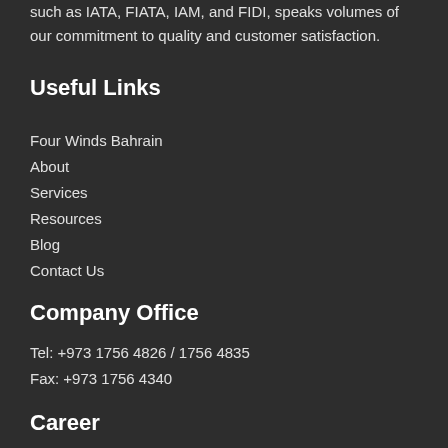such as IATA, FIATA, IAM, and FIDI, speaks volumes of our commitment to quality and customer satisfaction.
Useful Links
Four Winds Bahrain
About
Services
Resources
Blog
Contact Us
Company Office
Tel: +973 1756 4826 / 1756 4835
Fax: +973 1756 4340
Career